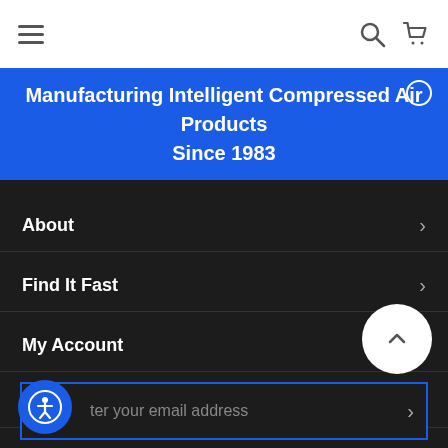Navigation bar with hamburger menu, search icon, and cart icon
Manufacturing Intelligent Compressed Air Products Since 1983
About
Find It Fast
My Account
Subscribe to E-mails
Enter your email address